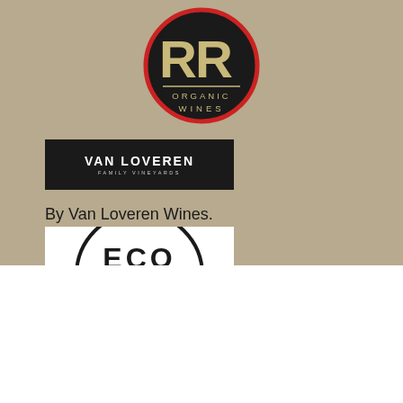[Figure (logo): RR Organic Wines circular logo: black circle with red outer ring, gold RR letters, text ORGANIC WINES below]
[Figure (logo): Van Loveren Family Vineyards logo: dark rectangular bar with white text VAN LOVEREN and subtitle FAMILY VINEYARDS]
By Van Loveren Wines.
[Figure (logo): ECO certification logo partially visible: white background with circular ECO text arc]
By continuing the use of our Website, you are explicitly and actively consenting to our processing of your personal information as per our Privacy Policy.